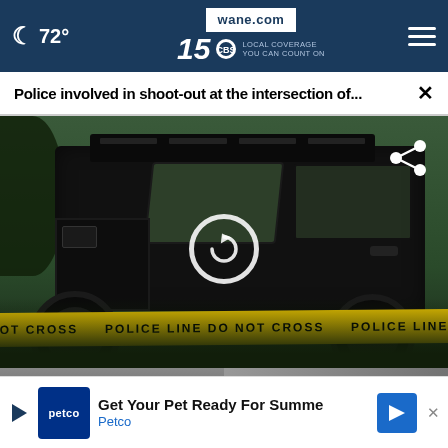☾ 72°  wane.com  15 LOCAL COVERAGE YOU CAN COUNT ON
Police involved in shoot-out at the intersection of...
[Figure (photo): A black Hummer H2 SUV behind yellow police tape reading POLICE LINE DO NOT CROSS, parked near vegetation and debris. A circular reload/play icon is overlaid on the image. A share icon appears in the upper right.]
[Figure (photo): Partial thumbnail of a person's face (left column)]
[Figure (photo): Partially obscured thumbnail (right column) with a close X button]
Tru... sta...
[Figure (other): Petco advertisement banner: Get Your Pet Ready For Summer - Petco, with play button, Petco logo, and navigation arrow]